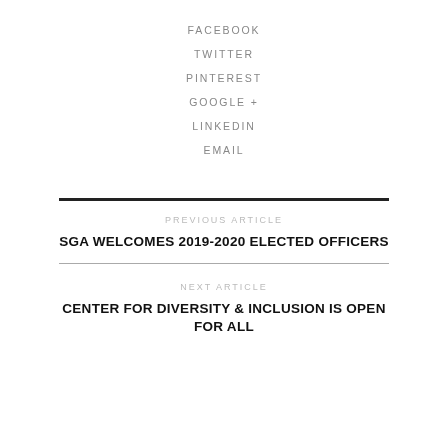FACEBOOK
TWITTER
PINTEREST
GOOGLE +
LINKEDIN
EMAIL
PREVIOUS ARTICLE
SGA WELCOMES 2019-2020 ELECTED OFFICERS
NEXT ARTICLE
CENTER FOR DIVERSITY & INCLUSION IS OPEN FOR ALL